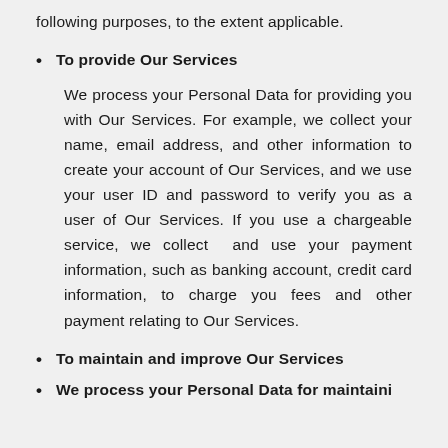following purposes, to the extent applicable.
To provide Our Services
We process your Personal Data for providing you with Our Services. For example, we collect your name, email address, and other information to create your account of Our Services, and we use your user ID and password to verify you as a user of Our Services. If you use a chargeable service, we collect and use your payment information, such as banking account, credit card information, to charge you fees and other payment relating to Our Services.
To maintain and improve Our Services
We process your Personal Data for maintaini...